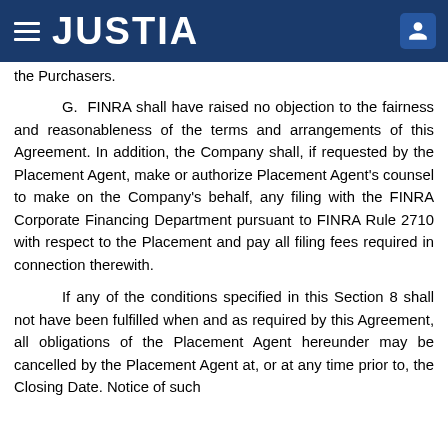JUSTIA
the Purchasers.
G. FINRA shall have raised no objection to the fairness and reasonableness of the terms and arrangements of this Agreement. In addition, the Company shall, if requested by the Placement Agent, make or authorize Placement Agent's counsel to make on the Company's behalf, any filing with the FINRA Corporate Financing Department pursuant to FINRA Rule 2710 with respect to the Placement and pay all filing fees required in connection therewith.
If any of the conditions specified in this Section 8 shall not have been fulfilled when and as required by this Agreement, all obligations of the Placement Agent hereunder may be cancelled by the Placement Agent at, or at any time prior to, the Closing Date. Notice of such